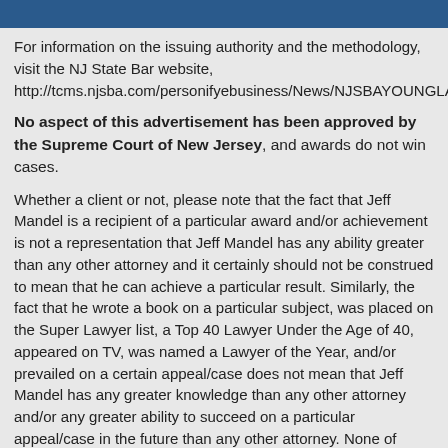For information on the issuing authority and the methodology, visit the NJ State Bar website, http://tcms.njsba.com/personifyebusiness/News/NJSBAYOUNGLAWYERSDIVISIONSEEKSNOMINATIONSFOR2016AWARDS.aspx
No aspect of this advertisement has been approved by the Supreme Court of New Jersey, and awards do not win cases.
Whether a client or not, please note that the fact that Jeff Mandel is a recipient of a particular award and/or achievement is not a representation that Jeff Mandel has any ability greater than any other attorney and it certainly should not be construed to mean that he can achieve a particular result. Similarly, the fact that he wrote a book on a particular subject, was placed on the Super Lawyer list, a Top 40 Lawyer Under the Age of 40, appeared on TV, was named a Lawyer of the Year, and/or prevailed on a certain appeal/case does not mean that Jeff Mandel has any greater knowledge than any other attorney and/or any greater ability to succeed on a particular appeal/case in the future than any other attorney. None of these awards or distinctions were given by a court nor were they endorsed by the Supreme Court